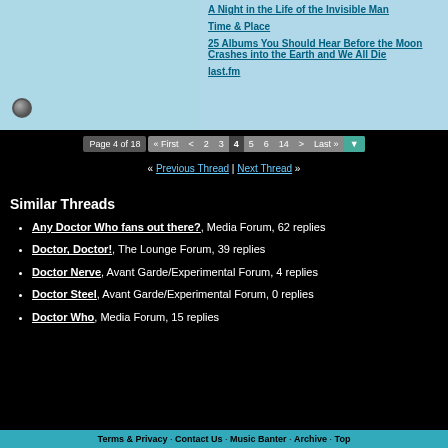A Night in the Life of the Invisible Man
Time & Place
25 Albums You Should Hear Before the Moon Crashes into the Earth and We All Die
last.fm
Page 4 of 18  « First  < 2 3 4 5 6 14 > Last »
« Previous Thread | Next Thread »
Similar Threads
Any Doctor Who fans out there?, Media Forum, 62 replies
Doctor, Doctor!, The Lounge Forum, 39 replies
Doctor Nerve, Avant Garde/Experimental Forum, 4 replies
Doctor Steel, Avant Garde/Experimental Forum, 0 replies
Doctor Who, Media Forum, 15 replies
Terms & Privacy · Contact Us · Music Banter · Archive · Top